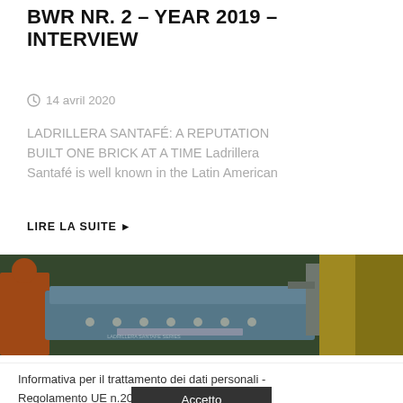BWR NR. 2 – YEAR 2019 – INTERVIEW
14 avril 2020
LADRILLERA SANTAFÉ: A REPUTATION BUILT ONE BRICK AT A TIME Ladrillera Santafé is well known in the Latin American
LIRE LA SUITE ▶
[Figure (photo): Industrial machinery photo showing workers and equipment in a factory setting with green and yellow machinery]
Informativa per il trattamento dei dati personali - Regolamento UE n.2016/679 – GDPR.  Leggi
Accetto